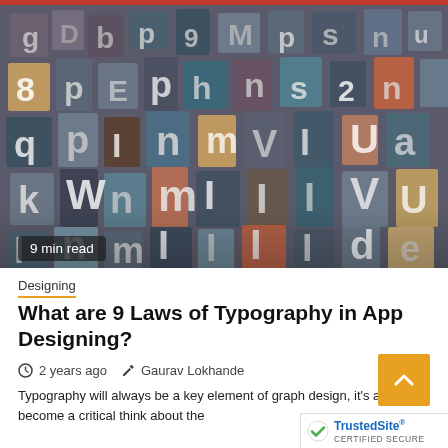[Figure (photo): Pile of vintage wooden letterpress type blocks with various letters and numbers in different sizes, aged with weathered colors of grey, blue, brown and cream.]
9 min read
Designing
What are 9 Laws of Typography in App Designing?
2 years ago   Gaurav Lokhande
Typography will always be a key element of graph design, it's also become a critical think about the